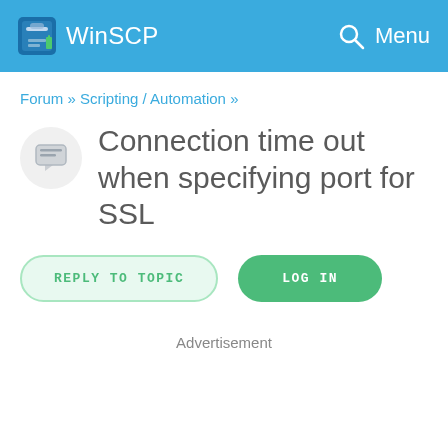WinSCP   Menu
Forum » Scripting / Automation »
Connection time out when specifying port for SSL
REPLY TO TOPIC   LOG IN
Advertisement